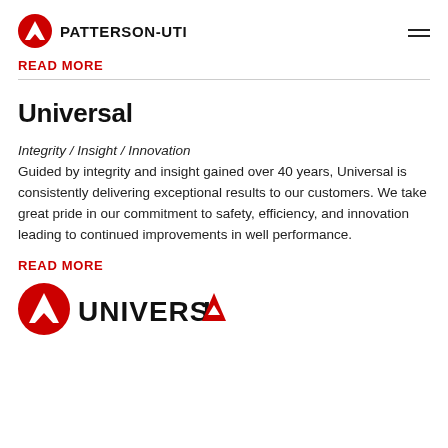PATTERSON-UTI
READ MORE
Universal
Integrity / Insight / Innovation
Guided by integrity and insight gained over 40 years, Universal is consistently delivering exceptional results to our customers. We take great pride in our commitment to safety, efficiency, and innovation leading to continued improvements in well performance.
READ MORE
[Figure (logo): Universal logo with red triangle/mountain icon and UNIVERSAL text in black with red triangle replacing the A]